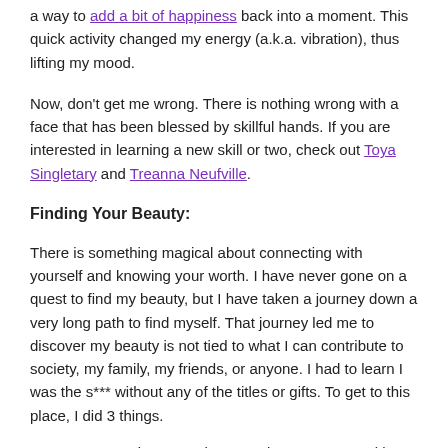a way to add a bit of happiness back into a moment. This quick activity changed my energy (a.k.a. vibration), thus lifting my mood.
Now, don't get me wrong. There is nothing wrong with a face that has been blessed by skillful hands. If you are interested in learning a new skill or two, check out Toya Singletary and Treanna Neufville.
Finding Your Beauty:
There is something magical about connecting with yourself and knowing your worth. I have never gone on a quest to find my beauty, but I have taken a journey down a very long path to find myself. That journey led me to discover my beauty is not tied to what I can contribute to society, my family, my friends, or anyone. I had to learn I was the s*** without any of the titles or gifts. To get to this place, I did 3 things.
Connection:  I made a promise to connect with myself for a month (spoiler alert: it has lasted well beyond